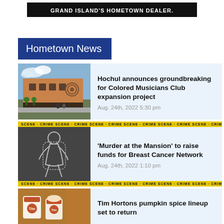GRAND ISLAND'S HOMETOWN DEALER.
Hometown News
[Figure (photo): Rendering of a brick building exterior for Colored Musicians Club expansion]
Hochul announces groundbreaking for Colored Musicians Club expansion project
Aug. 24th, 2022 5:30 pm
[Figure (photo): Crime scene photo with yellow crime scene tape and chalk body outline]
'Murder at the Mansion' to raise funds for Breast Cancer Network
Aug. 24th, 2022 1:10 pm
[Figure (photo): Tim Hortons coffee cups with pumpkin spice beverages]
Tim Hortons pumpkin spice lineup set to return